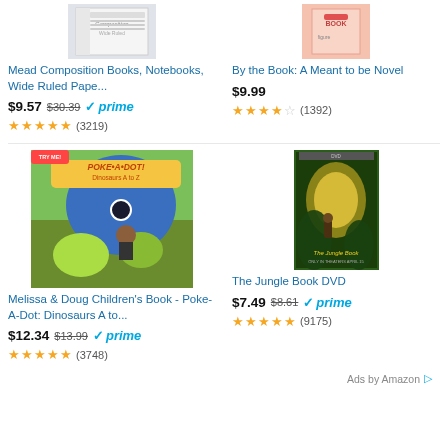[Figure (photo): Mead Composition Books product image (partial, top cropped)]
[Figure (photo): By the Book: A Meant to be Novel product image (partial, top cropped)]
Mead Composition Books, Notebooks, Wide Ruled Pape...
$9.57 $30.39 ✓prime
★★★★★ (3219)
By the Book: A Meant to be Novel
$9.99
★★★★☆ (1392)
[Figure (photo): Melissa & Doug Poke-A-Dot Dinosaurs A to Z children's book cover]
[Figure (photo): The Jungle Book DVD cover]
Melissa & Doug Children's Book - Poke-A-Dot: Dinosaurs A to...
$12.34 $13.99 ✓prime
★★★★★ (3748)
The Jungle Book DVD
$7.49 $8.61 ✓prime
★★★★★ (9175)
Ads by Amazon ▷